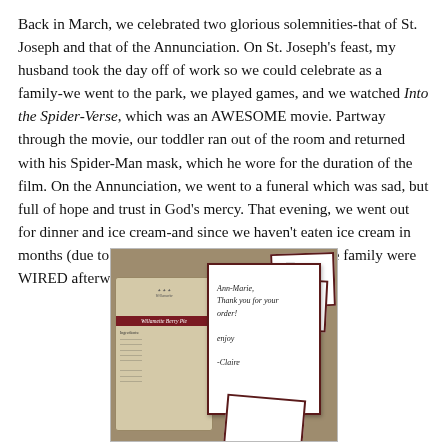Back in March, we celebrated two glorious solemnities-that of St. Joseph and that of the Annunciation. On St. Joseph's feast, my husband took the day off of work so we could celebrate as a family-we went to the park, we played games, and we watched Into the Spider-Verse, which was an AWESOME movie. Partway through the movie, our toddler ran out of the room and returned with his Spider-Man mask, which he wore for the duration of the film. On the Annunciation, we went to a funeral which was sad, but full of hope and trust in God's mercy. That evening, we went out for dinner and ice cream-and since we haven't eaten ice cream in months (due to Exodus 90), a couple members of the family were WIRED afterwards! Haha!
[Figure (photo): Photo of tea packages and handwritten note cards on a table. Left side shows a tea package labeled 'Willamette Berry Pie'. Right side shows a white note card with handwritten text including 'Ann-Marie', 'Thank you for your order', and signed '-Claire'. Additional dark-bordered cards visible in the background.]